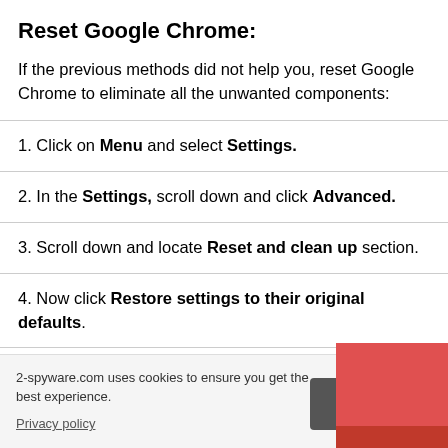Reset Google Chrome:
If the previous methods did not help you, reset Google Chrome to eliminate all the unwanted components:
1. Click on Menu and select Settings.
2. In the Settings, scroll down and click Advanced.
3. Scroll down and locate Reset and clean up section.
4. Now click Restore settings to their original defaults.
5. Confirm with Reset settings.
2-spyware.com uses cookies to ensure you get the best experience. Privacy policy  Agree